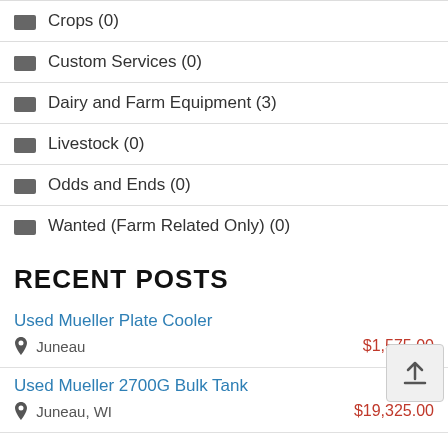Crops (0)
Custom Services (0)
Dairy and Farm Equipment (3)
Livestock (0)
Odds and Ends (0)
Wanted (Farm Related Only) (0)
RECENT POSTS
Used Mueller Plate Cooler
Juneau
$1,575.00
Used Mueller 2700G Bulk Tank
Juneau, WI
$19,325.00